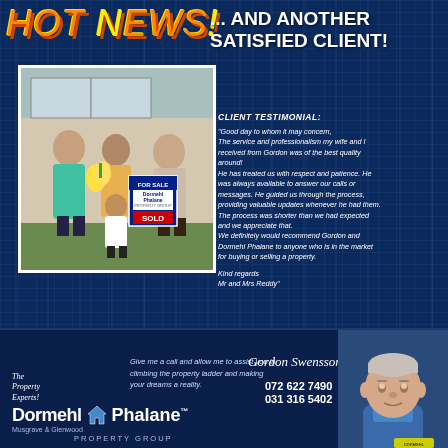HOT NEWS!
... AND ANOTHER SATISFIED CLIENT!
[Figure (photo): Family of four (man, woman, child) and an older agent holding a FOR SALE / SOLD Dormehl Phalane sign, posing in front of a house.]
CLIENT TESTIMONIAL:
"Good day to whom it may concern, The service and professionalism my wife and I received from Gordon was of the best quality around! He has treated us with respect and patience. He was always available to answer our calls or messages. He guided us through the process, providing valuable updates whenever he had them. The process was shorter than we had expected and we appreciate that. We definitely would recommend Gordon and Dormehl Phalane to anyone who is in the market for buying or selling a property.
Kind regards Mr and Mrs Reddy"
Give me a call and allow me to assist you in climbing the property ladder and making your dreams a reality.
Gordon Swensson
072 622 7490
031 316 5402
[Figure (logo): Dormehl Phalane Property Group logo with house icon. Musgrave & Glenwood branch.]
[Figure (photo): Headshot of Gordon Swensson, a middle-aged white man in a blue shirt.]